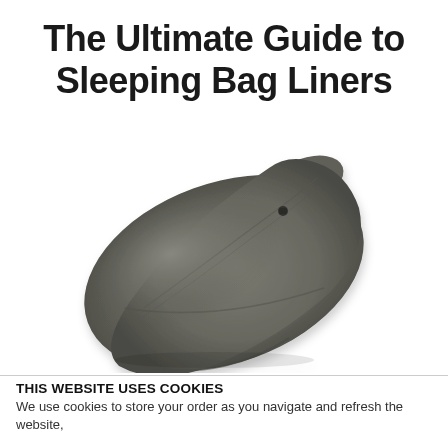The Ultimate Guide to Sleeping Bag Liners
[Figure (photo): A mummy-style sleeping bag liner in dark olive/grey fabric, lying flat and slightly diagonal, showing the tapered shape with a narrow foot end at top right and wider shoulder area at bottom left.]
THIS WEBSITE USES COOKIES
We use cookies to store your order as you navigate and refresh the website,